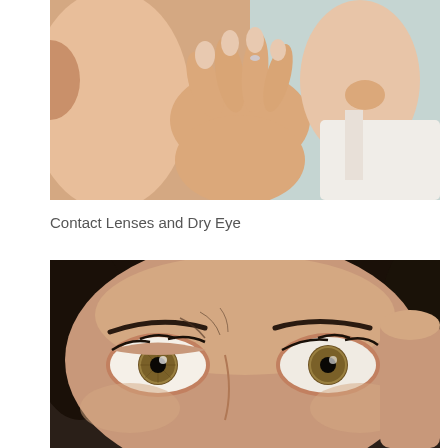[Figure (photo): A person inserting a contact lens into their eye, viewed in mirror reflection. Close-up of hands near the eye.]
Contact Lenses and Dry Eye
[Figure (photo): Extreme close-up of a woman's eyes with hazel/green irises, dark curly hair, looking upward.]